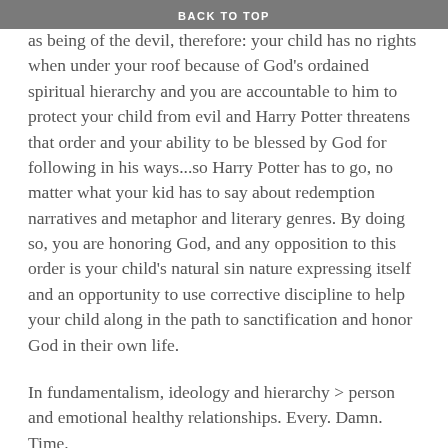BACK TO TOP
as being of the devil, therefore: your child has no rights when under your roof because of God's ordained spiritual hierarchy and you are accountable to him to protect your child from evil and Harry Potter threatens that order and your ability to be blessed by God for following in his ways...so Harry Potter has to go, no matter what your kid has to say about redemption narratives and metaphor and literary genres. By doing so, you are honoring God, and any opposition to this order is your child's natural sin nature expressing itself and an opportunity to use corrective discipline to help your child along in the path to sanctification and honor God in their own life.
In fundamentalism, ideology and hierarchy > person and emotional healthy relationships. Every. Damn. Time.
bell hooks writes that “abuse and love cannot coexist” because (as Christian theology teaches) love is about considering another person’s best interest. When I chose